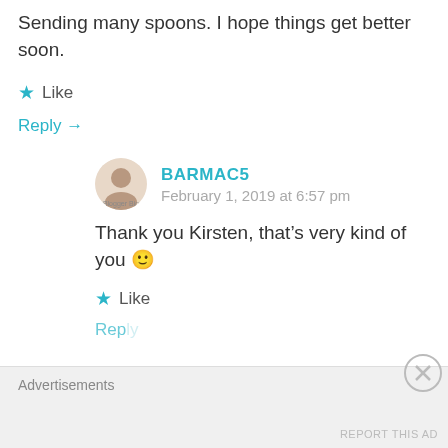Sending many spoons. I hope things get better soon.
★ Like
Reply →
BARMAC5
February 1, 2019 at 6:57 pm
Thank you Kirsten, that's very kind of you 🙂
★ Like
Reply
Advertisements
REPORT THIS AD